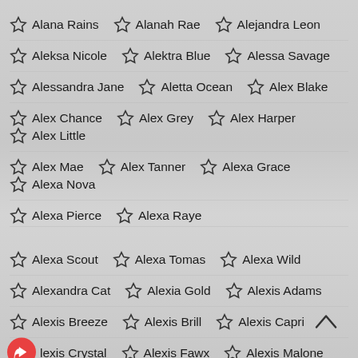Alana Rains, Alanah Rae, Alejandra Leon
Aleksa Nicole, Alektra Blue, Alessa Savage
Alessandra Jane, Aletta Ocean, Alex Blake
Alex Chance, Alex Grey, Alex Harper, Alex Little
Alex Mae, Alex Tanner, Alexa Grace, Alexa Nova
Alexa Pierce, Alexa Raye
Alexa Scout, Alexa Tomas, Alexa Wild
Alexandra Cat, Alexia Gold, Alexis Adams
Alexis Breeze, Alexis Brill, Alexis Capri
Alexis Crystal, Alexis Fawx, Alexis Malone